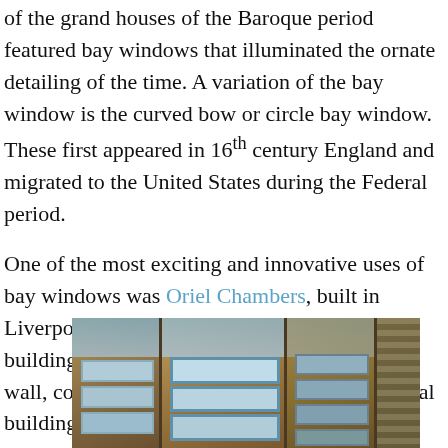of the grand houses of the Baroque period featured bay windows that illuminated the ornate detailing of the time. A variation of the bay window is the curved bow or circle bay window. These first appeared in 16th century England and migrated to the United States during the Federal period.
One of the most exciting and innovative uses of bay windows was Oriel Chambers, built in Liverpool in 1864. It was the world's first building featuring a metal-framed glass curtain wall, considered to be one of the most influential buildings of its age.
[Figure (photo): Photograph of Oriel Chambers building facade in Liverpool showing ornate bay windows with metal framing and glass curtain wall construction.]